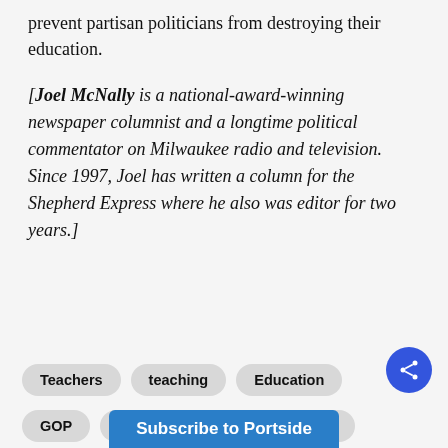prevent partisan politicians from destroying their education.
[Joel McNally is a national-award-winning newspaper columnist and a longtime political commentator on Milwaukee radio and television. Since 1997, Joel has written a column for the Shepherd Express where he also was editor for two years.]
Teachers
teaching
Education
GOP
Republican Party
schools
book bans
book burning
Milwaukee
Milwaukee Teachers
Bradley Foundation
Subscribe to Portside